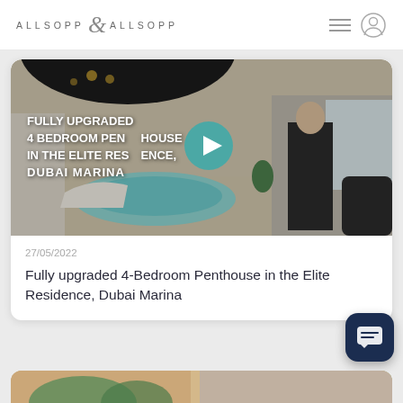ALLSOPP & ALLSOPP
[Figure (screenshot): Video thumbnail of a luxury penthouse interior with a man in a suit standing beside an indoor pool. Overlay text reads: FULLY UPGRADED 4 BEDROOM PENTHOUSE IN THE ELITE RESIDENCE, DUBAI MARINA. A teal play button is overlaid in the center.]
27/05/2022
Fully upgraded 4-Bedroom Penthouse in the Elite Residence, Dubai Marina
[Figure (photo): Partially visible bottom card showing a property image with warm tones and greenery]